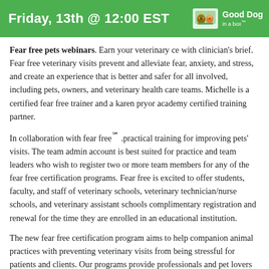Friday, 13th @ 12:00 EST | Good Dog in a box
Fear free pets webinars. Earn your veterinary ce with clinician's brief. Fear free veterinary visits prevent and alleviate fear, anxiety, and stress, and create an experience that is better and safer for all involved, including pets, owners, and veterinary health care teams. Michelle is a certified fear free trainer and a karen pryor academy certified training partner.
In collaboration with fear free℠ .practical training for improving pets' visits. The team admin account is best suited for practice and team leaders who wish to register two or more team members for any of the fear free certification programs. Fear free is excited to offer students, faculty, and staff of veterinary schools, veterinary technician/nurse schools, and veterinary assistant schools complimentary registration and renewal for the time they are enrolled in an educational institution.
The new fear free certification program aims to help companion animal practices with preventing veterinary visits from being stressful for patients and clients. Our programs provide professionals and pet lovers with. Reduce stress in shelter pets with fear free.
And lecturing on all things cats and dogs including enrichment, socialization, fear free handling and more. Updated shelter medicine resources. Fear...